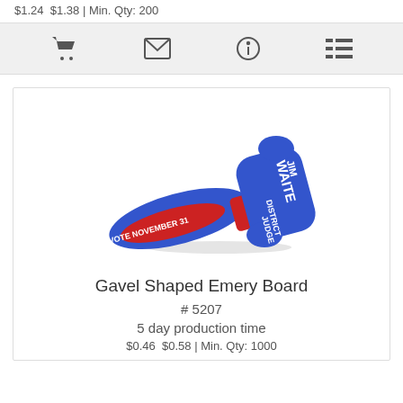$1.24  $1.38 | Min. Qty: 200
[Figure (screenshot): Icon toolbar with shopping cart, envelope, info, and list icons on a light gray background]
[Figure (photo): Gavel shaped emery board in blue and red colors with 'JIM WAITE DISTRICT JUDGE' and 'VOTE NOVEMBER 31' printed on it]
Gavel Shaped Emery Board
# 5207
5 day production time
$0.46  $0.58 | Min. Qty: 1000